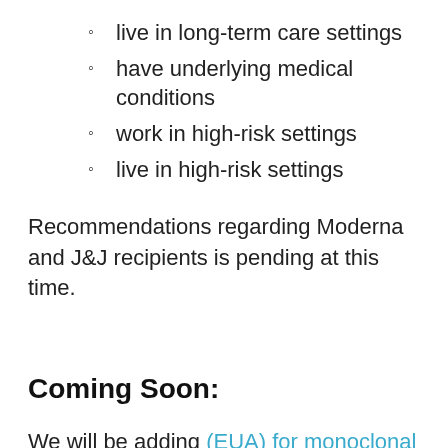live in long-term care settings
have underlying medical conditions
work in high-risk settings
live in high-risk settings
Recommendations regarding Moderna and J&J recipients is pending at this time.
Coming Soon:
We will be adding (EUA) for monoclonal antibody.
Do you have a history of being a vaccine